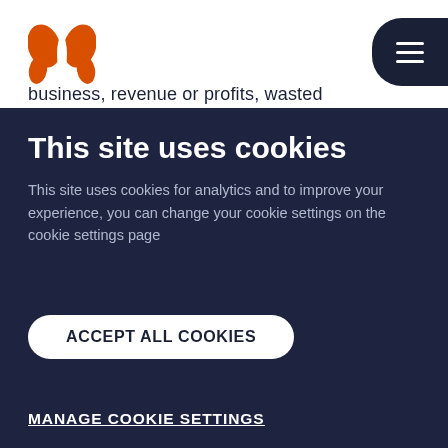[Figure (logo): Orange butterfly logo in top-left corner]
[Figure (other): Dark hamburger menu button in top-right corner]
business, revenue or profits, wasted
This site uses cookies
This site uses cookies for analytics and to improve your experience, you can change your cookie settings on the cookie settings page
ACCEPT ALL COOKIES
MANAGE COOKIE SETTINGS